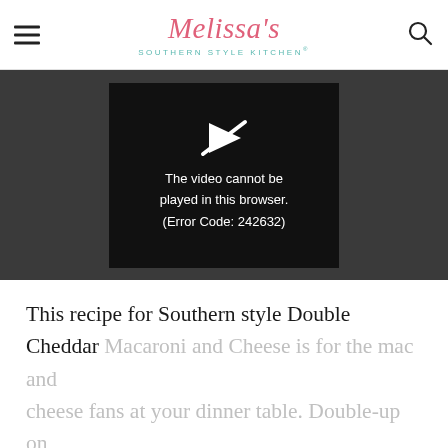Melissa's Southern Style Kitchen®
[Figure (screenshot): Video player showing error message: 'The video cannot be played in this browser. (Error Code: 242632)']
This recipe for Southern style Double Cheddar Macaroni and Cheese is for the mac and cheese fans at your dinner table. Double-up on